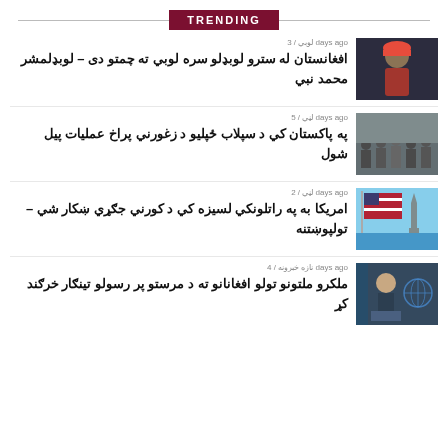TRENDING
لوبي / 3 days ago
افغانستان له سترو لوبډلو سره لوبي ته چمتو دی – لوبډلمشر محمد نبي
[Figure (photo): Cricket player wearing red cap]
لڼي / 5 days ago
په پاکستان کي د سپلاب ځپلیو د زغورني پراخ عملیات پیل شول
[Figure (photo): Protest crowd scene]
لڼي / 2 days ago
امریکا به په راتلونکي لسیزه کي د کورني جګړي ښکار شي – تولپوښتنه
[Figure (photo): American flag with Statue of Liberty]
نازه خبرونه / 4 days ago
ملکرو ملتونو تولو افغانانو ته د مرستو پر رسولو تینګار خرګند کړ
[Figure (photo): UN official at press conference]